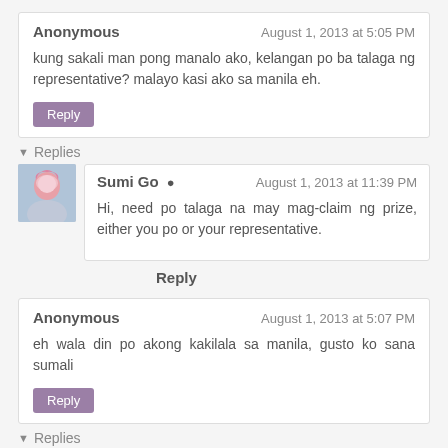Anonymous — August 1, 2013 at 5:05 PM
kung sakali man pong manalo ako, kelangan po ba talaga ng representative? malayo kasi ako sa manila eh.
Reply
▼ Replies
Sumi Go ▲ — August 1, 2013 at 11:39 PM
Hi, need po talaga na may mag-claim ng prize, either you po or your representative.
Reply
Anonymous — August 1, 2013 at 5:07 PM
eh wala din po akong kakilala sa manila, gusto ko sana sumali
Reply
▼ Replies